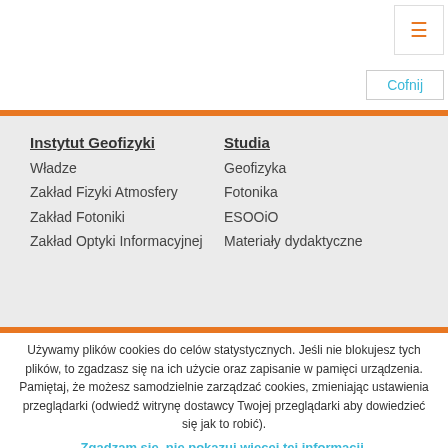☰
Cofnij
Instytut Geofizyki
Władze
Zakład Fizyki Atmosfery
Zakład Fotoniki
Zakład Optyki Informacyjnej
Studia
Geofizyka
Fotonika
ESOOiO
Materiały dydaktyczne
Używamy plików cookies do celów statystycznych. Jeśli nie blokujesz tych plików, to zgadzasz się na ich użyce oraz zapisanie w pamięci urządzenia. Pamiętaj, że możesz samodzielnie zarządzać cookies, zmieniając ustawienia przeglądarki (odwiedź witrynę dostawcy Twojej przeglądarki aby dowiedzieć się jak to robić).
Zgadzam się, nie pokazuj więcej tej informacji.